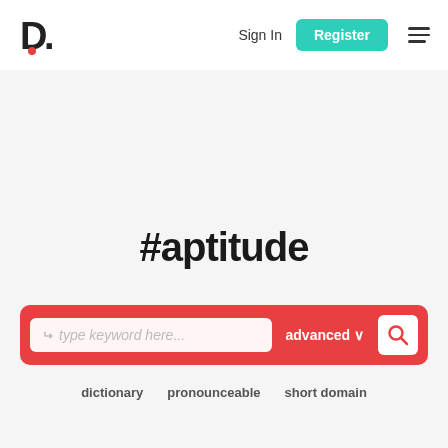D. Sign In Register ☰
#aptitude
type keyword here... advanced
dictionary   pronounceable   short domain